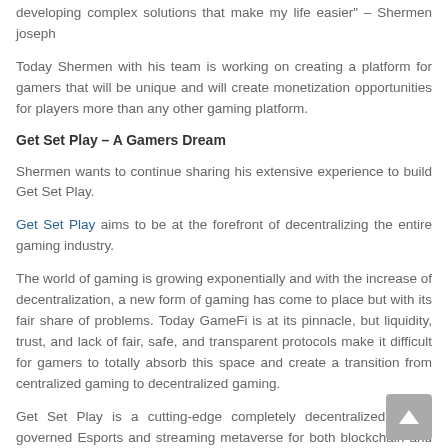'I like to challenge myself by playing sports, reading books, developing complex solutions that make my life easier" – Shermen joseph
Today Shermen with his team is working on creating a platform for gamers that will be unique and will create monetization opportunities for players more than any other gaming platform.
Get Set Play – A Gamers Dream
Shermen wants to continue sharing his extensive experience to build Get Set Play.
Get Set Play aims to be at the forefront of decentralizing the entire gaming industry.
The world of gaming is growing exponentially and with the increase of decentralization, a new form of gaming has come to place but with its fair share of problems. Today GameFi is at its pinnacle, but liquidity, trust, and lack of fair, safe, and transparent protocols make it difficult for gamers to totally absorb this space and create a transition from centralized gaming to decentralized gaming.
Get Set Play is a cutting-edge completely decentralized, DAO-governed Esports and streaming metaverse for both blockchain and off-chain games. A platform for competitive gamers and streamers to compete and broadcast